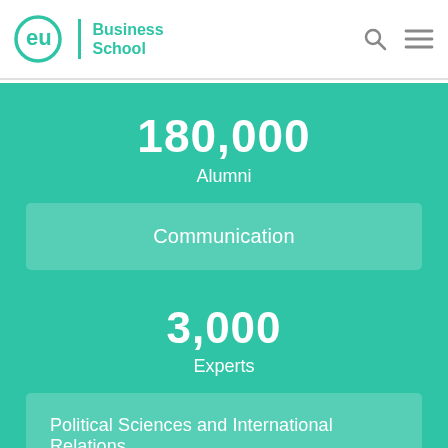EU Business School
180,000 Alumni
Communication
3,000 Experts
Political Sciences and International Relations